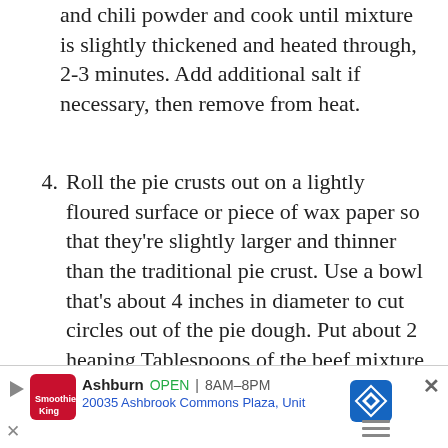and chili powder and cook until mixture is slightly thickened and heated through, 2-3 minutes. Add additional salt if necessary, then remove from heat.
4. Roll the pie crusts out on a lightly floured surface or piece of wax paper so that they're slightly larger and thinner than the traditional pie crust. Use a bowl that's about 4 inches in diameter to cut circles out of the pie dough. Put about 2 heaping Tablespoons of the beef mixture on one half of each of the circles. Sprinkle with a small handful of cheese. Fold the other half over the beef then use a fork or crimp to seal the edges. If you're having trouble getting them to stick, put a little water along the edge with your finger.
5. Gather up any scraps and re-roll and cut